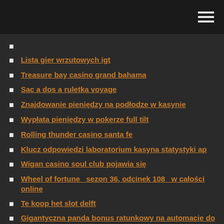Lista gier wrzutowych igt
Treasure bay casino grand bahama
Sac a dos a ruletka voyage
Znajdowanie pieniędzy na podłodze w kasynie
Wypłata pieniędzy w pokerze full tilt
Rolling thunder casino santa fe
Klucz odpowiedzi laboratorium kasyna statystyki ap
Wigan casino soul club pojawia się
Wheel of fortune _sezon 36, odcinek 108_ w całości online
Te koop het slot delft
Gigantyczna panda bonus ratunkowy na automacie do gry